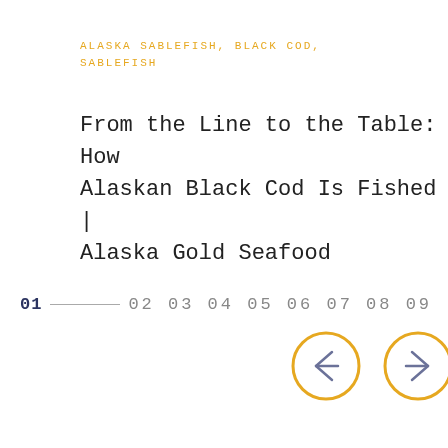ALASKA SABLEFISH, BLACK COD, SABLEFISH
From the Line to the Table: How Alaskan Black Cod Is Fished | Alaska Gold Seafood
01 — 02 03 04 05 06 07 08 09
[Figure (other): Navigation arrows: left arrow and right arrow, each inside a yellow/gold circle border]